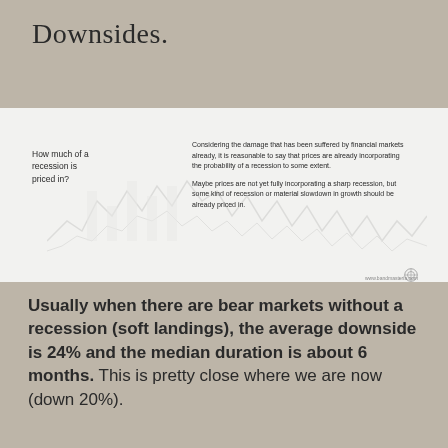Downsides.
How much of a recession is priced in?
Considering the damage that has been suffered by financial markets already, it is reasonable to say that prices are already incorporating the probability of a recession to some extent.

Maybe prices are not yet fully incorporating a sharp recession, but some kind of recession or material slowdown in growth should be already priced in.
Usually when there are bear markets without a recession (soft landings), the average downside is 24% and the median duration is about 6 months. This is pretty close where we are now (down 20%).